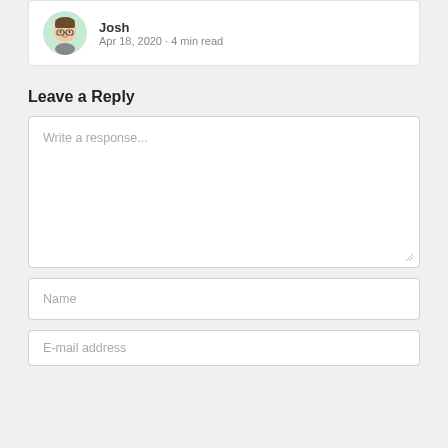Josh
Apr 18, 2020 · 4 min read
Leave a Reply
Write a response...
Name
E-mail address